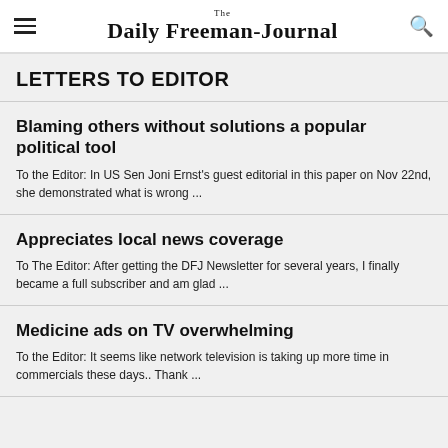The Daily Freeman-Journal
LETTERS TO EDITOR
Blaming others without solutions a popular political tool
To the Editor: In US Sen Joni Ernst's guest editorial in this paper on Nov 22nd, she demonstrated what is wrong ...
Appreciates local news coverage
To The Editor: After getting the DFJ Newsletter for several years, I finally became a full subscriber and am glad ...
Medicine ads on TV overwhelming
To the Editor: It seems like network television is taking up more time in commercials these days.. Thank ...